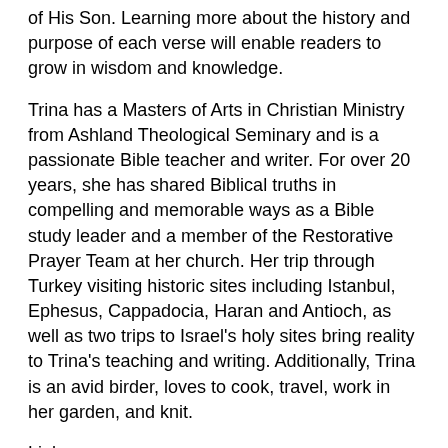of His Son. Learning more about the history and purpose of each verse will enable readers to grow in wisdom and knowledge.
Trina has a Masters of Arts in Christian Ministry from Ashland Theological Seminary and is a passionate Bible teacher and writer. For over 20 years, she has shared Biblical truths in compelling and memorable ways as a Bible study leader and a member of the Restorative Prayer Team at her church. Her trip through Turkey visiting historic sites including Istanbul, Ephesus, Cappadocia, Haran and Antioch, as well as two trips to Israel's holy sites bring reality to Trina's teaching and writing. Additionally, Trina is an avid birder, loves to cook, travel, work in her garden, and knit.
Links
Amazon
https://www.amazon.com/Trina-Bresser-Matous/e/B00MTYTAD8